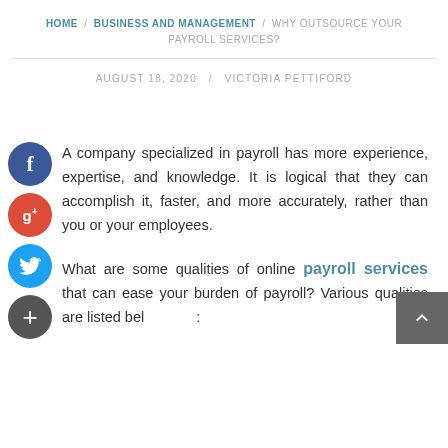HOME / BUSINESS AND MANAGEMENT / WHY OUTSOURCE YOUR PAYROLL SERVICES?
AUGUST 18, 2020   /   VICTORIA PETTIFORD
A company specialized in payroll has more experience, expertise, and knowledge. It is logical that they can accomplish it, faster, and more accurately, rather than you or your employees.
What are some qualities of online payroll services that can ease your burden of payroll? Various qualities are listed below: